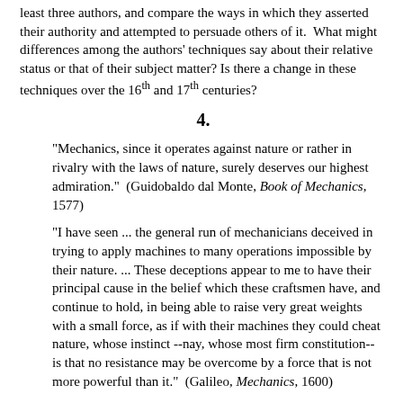least three authors, and compare the ways in which they asserted their authority and attempted to persuade others of it.  What might differences among the authors' techniques say about their relative status or that of their subject matter? Is there a change in these techniques over the 16th and 17th centuries?
4.
"Mechanics, since it operates against nature or rather in rivalry with the laws of nature, surely deserves our highest admiration."  (Guidobaldo dal Monte, Book of Mechanics, 1577)
"I have seen ... the general run of mechanicians deceived in trying to apply machines to many operations impossible by their nature. ... These deceptions appear to me to have their principal cause in the belief which these craftsmen have, and continue to hold, in being able to raise very great weights with a small force, as if with their machines they could cheat nature, whose instinct --nay, whose most firm constitution-- is that no resistance may be overcome by a force that is not more powerful than it."  (Galileo, Mechanics, 1600)